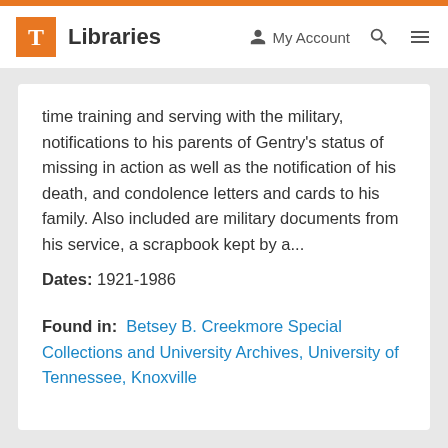T Libraries  My Account  [search icon] [menu icon]
time training and serving with the military, notifications to his parents of Gentry's status of missing in action as well as the notification of his death, and condolence letters and cards to his family. Also included are military documents from his service, a scrapbook kept by a...
Dates: 1921-1986
Found in: Betsey B. Creekmore Special Collections and University Archives, University of Tennessee, Knoxville